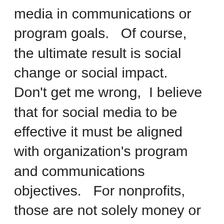media in communications or program goals.   Of course, the ultimate result is social change or social impact.  Don't get me wrong,  I believe that for social media to be effective it must be aligned with organization's program and communications objectives.   For nonprofits, those are not solely money or efficiency for everything that could be measured.    By aligning social media to organizational objectives and using measurement,  you can answer the question:   of all the ways we could be